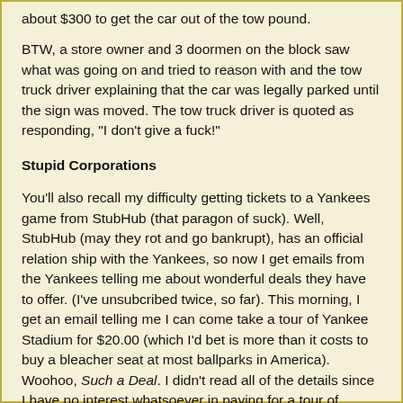about $300 to get the car out of the tow pound.
BTW, a store owner and 3 doormen on the block saw what was going on and tried to reason with and the tow truck driver explaining that the car was legally parked until the sign was moved. The tow truck driver is quoted as responding, "I don't give a fuck!"
Stupid Corporations
You'll also recall my difficulty getting tickets to a Yankees game from StubHub (that paragon of suck). Well, StubHub (may they rot and go bankrupt), has an official relation ship with the Yankees, so now I get emails from the Yankees telling me about wonderful deals they have to offer. (I've unsubcribed twice, so far). This morning, I get an email telling me I can come take a tour of Yankee Stadium for $20.00 (which I'd bet is more than it costs to buy a bleacher seat at most ballparks in America). Woohoo, Such a Deal. I didn't read all of the details since I have no interest whatsoever in paying for a tour of Yankee Stadium, but I did notice these things: